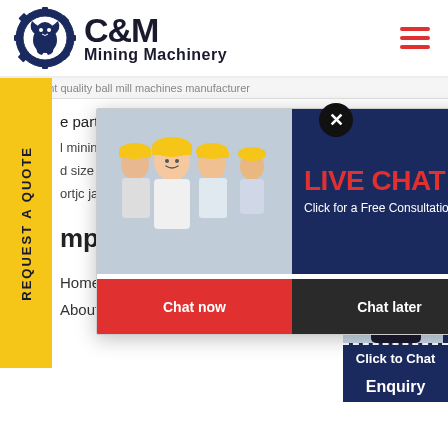[Figure (logo): C&M Mining Machinery logo with eagle gear icon in navy blue]
excellent quality ball mill machines manufacturer
e parts for cs spring cone crusher india
l mining e...
d size on...
ortjc jaw...
mpany
[Figure (screenshot): Live Chat popup with construction workers photo, LIVE CHAT heading in red, 'Click for a Free Consultation', Chat now and Chat later buttons]
REQUEST A QUOTE
Home
About Us
Click to Chat
Enquiry